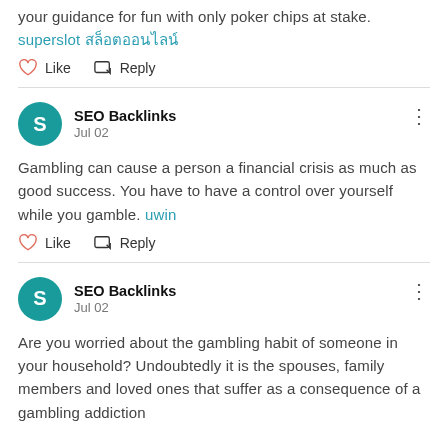your guidance for fun with only poker chips at stake. superslot สล็อตออนไลน์
Like   Reply
SEO Backlinks
Jul 02
Gambling can cause a person a financial crisis as much as good success. You have to have a control over yourself while you gamble. uwin
Like   Reply
SEO Backlinks
Jul 02
Are you worried about the gambling habit of someone in your household? Undoubtedly it is the spouses, family members and loved ones that suffer as a consequence of a gambling addiction